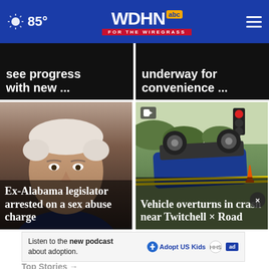WDHN ABC FOR THE WIREGRASS — 85°
see progress with new ...
underway for convenience ...
[Figure (photo): Mugshot of an older white-haired man]
Ex-Alabama legislator arrested on a sex abuse charge
[Figure (photo): Overturned vehicle at crash scene with yellow tape and traffic light visible]
Vehicle overturns in crash near Twitchell Road
Listen to the new podcast about adoption.
Top Stories →